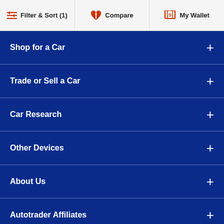Filter & Sort (1) | Compare | My Wallet
Shop for a Car
Trade or Sell a Car
Car Research
Other Devices
About Us
Autotrader Affiliates
Follow